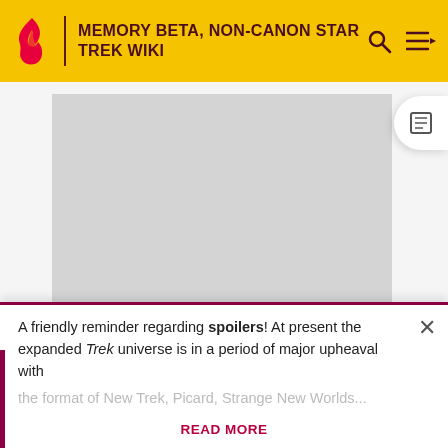MEMORY BETA, NON-CANON STAR TREK WIKI
[Figure (other): Gray advertisement placeholder box]
ADVERTISEMENT
References
A friendly reminder regarding spoilers! At present the expanded Trek universe is in a period of major upheaval with
READ MORE